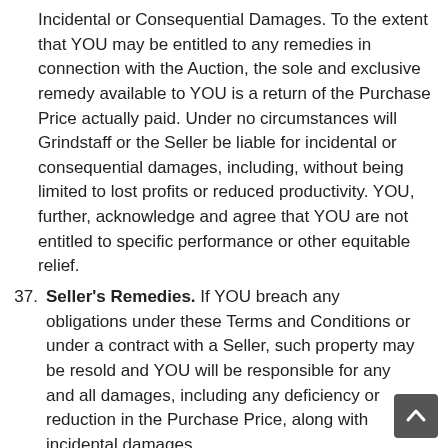Incidental or Consequential Damages. To the extent that YOU may be entitled to any remedies in connection with the Auction, the sole and exclusive remedy available to YOU is a return of the Purchase Price actually paid. Under no circumstances will Grindstaff or the Seller be liable for incidental or consequential damages, including, without being limited to lost profits or reduced productivity. YOU, further, acknowledge and agree that YOU are not entitled to specific performance or other equitable relief.
37. Seller's Remedies. If YOU breach any obligations under these Terms and Conditions or under a contract with a Seller, such property may be resold and YOU will be responsible for any and all damages, including any deficiency or reduction in the Purchase Price, along with incidental damages.
38. Private Sale. YOU agree not to enter into a Private Sale transaction with the Seller(s) of any Lot(s) prior